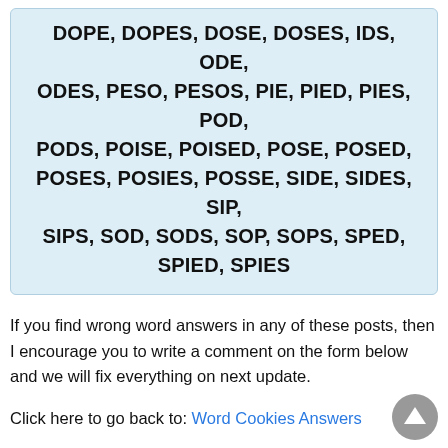DOPE, DOPES, DOSE, DOSES, IDS, ODE, ODES, PESO, PESOS, PIE, PIED, PIES, POD, PODS, POISE, POISED, POSE, POSED, POSES, POSIES, POSSE, SIDE, SIDES, SIP, SIPS, SOD, SODS, SOP, SOPS, SPED, SPIED, SPIES
If you find wrong word answers in any of these posts, then I encourage you to write a comment on the form below and we will fix everything on next update.
Click here to go back to: Word Cookies Answers